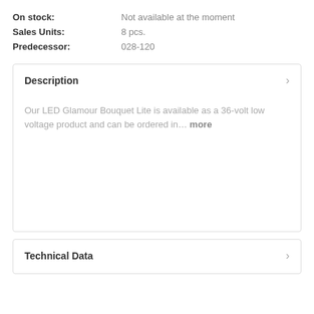| On stock: | Not available at the moment |
| Sales Units: | 8 pcs. |
| Predecessor: | 028-120 |
Description
Our LED Glamour Bouquet Lite is available as a 36-volt low voltage product and can be ordered in... more
Technical Data